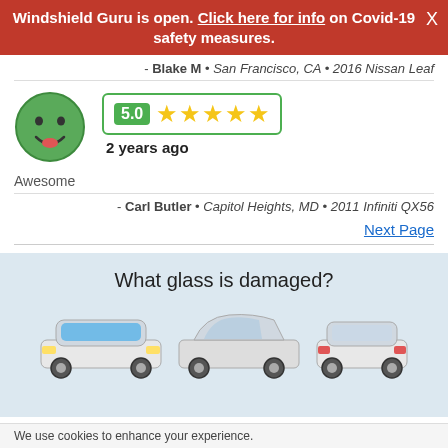Windshield Guru is open. Click here for info on Covid-19 safety measures.
- Blake M • San Francisco, CA • 2016 Nissan Leaf
[Figure (illustration): Green smiley face avatar icon with 5.0 rating box and 5 gold stars, labeled '2 years ago']
Awesome
- Carl Butler • Capitol Heights, MD • 2011 Infiniti QX56
Next Page
[Figure (illustration): Three car illustrations (front, side, rear views) on light blue background with title 'What glass is damaged?']
We use cookies to enhance your experience.